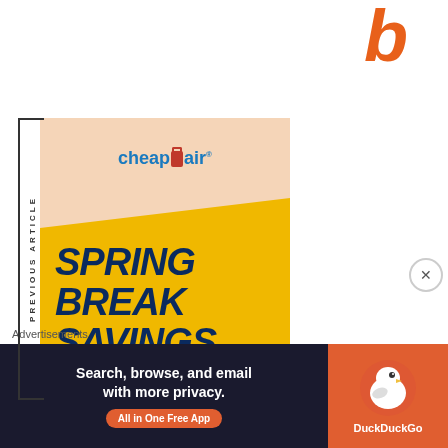[Figure (logo): Partial orange italic letter (appears to be part of a logo or heading) in top right corner]
[Figure (illustration): CheapOair advertisement banner with 'PREVIOUS ARTICLE' sidebar text. Features CheapOair logo on peach background transitioning to yellow section with 'SPRING BREAK SAVINGS' in bold dark blue italic text.]
Advertisements
[Figure (illustration): DuckDuckGo advertisement: 'Search, browse, and email with more privacy. All in One Free App' with DuckDuckGo duck logo on dark navy/orange background.]